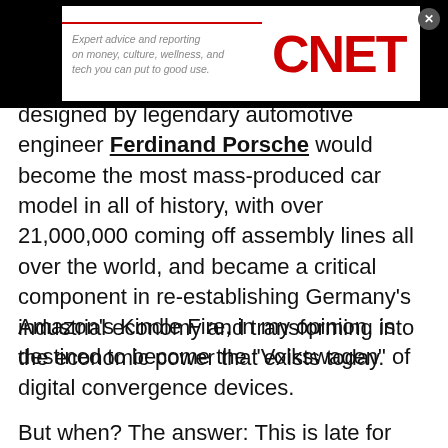Expert advice and reporting on money, culture, wellness, and tech you can put to good use. CNET
designed by legendary automotive engineer Ferdinand Porsche would become the most mass-produced car model in all of history, with over 21,000,000 coming off assembly lines all over the world, and became a critical component in re-establishing Germany's industrial economy and transforming into the economic power that exists today.
Amazon's Kindle Fire, in my opinion, is destined to become the "Volkswagen" of digital convergence devices.
But when? The answer: This is late for once a